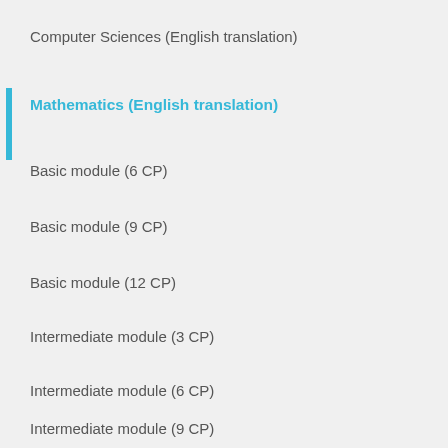Computer Sciences (English translation)
Mathematics (English translation)
Basic module (6 CP)
Basic module (9 CP)
Basic module (12 CP)
Intermediate module (3 CP)
Intermediate module (6 CP)
Intermediate module (9 CP)